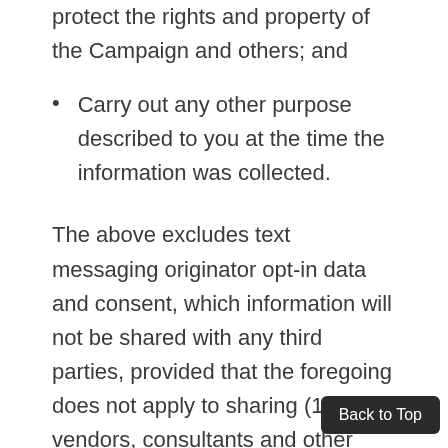protect the rights and property of the Campaign and others; and
Carry out any other purpose described to you at the time the information was collected.
The above excludes text messaging originator opt-in data and consent, which information will not be shared with any third parties, provided that the foregoing does not apply to sharing (1) with vendors, consultants and other service providers who need access to such information to carry out work on our behalf (and who will not use such information for their own purposes); (2) if we believe disclosure is required by any applicable law, rule, or regulation or to comply with law